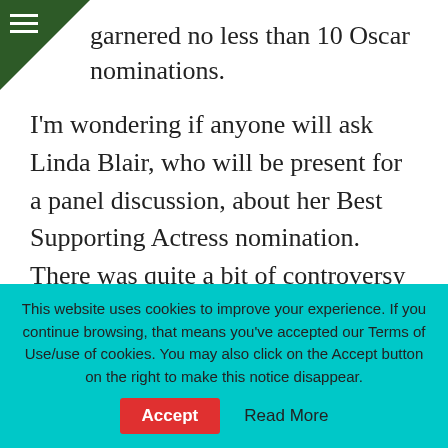…garnered no less than 10 Oscar nominations.
I'm wondering if anyone will ask Linda Blair, who will be present for a panel discussion, about her Best Supporting Actress nomination. There was quite a bit of controversy at the time because of her vocal performance. (Her facial expressions, some of which are unintentionally funny, are little more than make-up creations.) In the film, Blair's voice — cute and sweet while she's the little…
This website uses cookies to improve your experience. If you continue browsing, that means you've accepted our Terms of Use/use of cookies. You may also click on the Accept button on the right to make this notice disappear. Accept  Read More